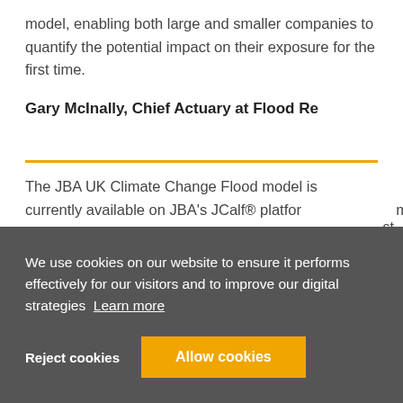model, enabling both large and smaller companies to quantify the potential impact on their exposure for the first time.
Gary McInally, Chief Actuary at Flood Re
The JBA UK Climate Change Flood model is currently available on JBA's JCalf® platform
We use cookies on our website to ensure it performs effectively for our visitors and to improve our digital strategies Learn more